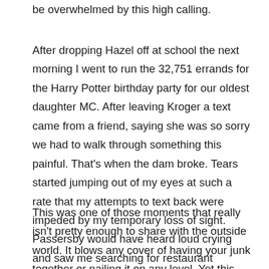be overwhelmed by this high calling.
After dropping Hazel off at school the next morning I went to run the 32,751 errands for the Harry Potter birthday party for our oldest daughter MC. After leaving Kroger a text came from a friend, saying she was so sorry we had to walk through something this painful. That's when the dam broke. Tears started jumping out of my eyes at such a rate that my attempts to text back were impeded by my temporary loss of sight. Passersby would have heard loud crying and saw me searching for restaurant napkins to construct a dam for the rivers of tears, snot, and whatever drool may come next as I struggled to breathe through the monsoon of sad.
This was one of those moments that really isn't pretty enough to share with the outside world. It blows any cover of having your junk together or nailing it on any level. Yet this was precisely my